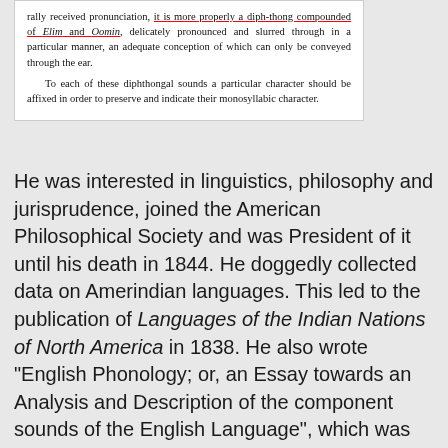[Figure (other): Inset box with old typeset text about pronunciation and diphthongal sounds, including underlined text and italic words Elim and Oomin.]
He was interested in linguistics, philosophy and jurisprudence, joined the American Philosophical Society and was President of it until his death in 1844. He doggedly collected data on Amerindian languages. This led to the publication of Languages of the Indian Nations of North America in 1838. He also wrote "English Phonology; or, an Essay towards an Analysis and Description of the component sounds of the English Language", which was published in the Transactions of the American Philosophical Society, New Series 1 (1818): 228-264.
He invented a lexical set of words to refer to the sounds he wanted to describe. Unlike John Wells's sets, which the latter 'dreamt up' in preparing his seminal three volumes of Accents of English, Duponceau's set consists of arbitrary names: for example, the vowel sound in people, key or